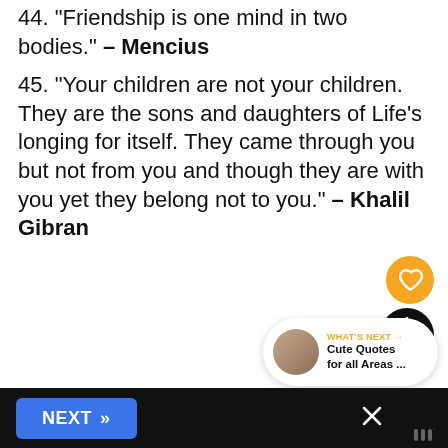44. "Friendship is one mind in two bodies." – Mencius
45. "Your children are not your children. They are the sons and daughters of Life's longing for itself. They came through you but not from you and though they are with you yet they belong not to you." – Khalil Gibran